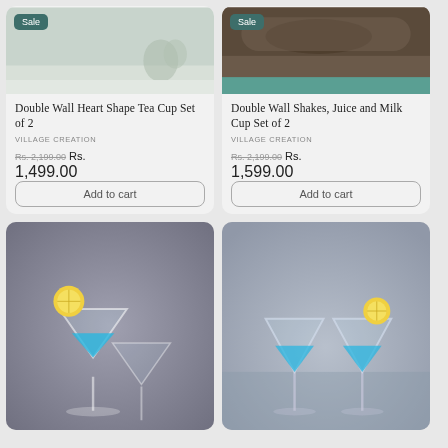[Figure (photo): Product photo of Double Wall Heart Shape Tea Cup Set, with Sale badge, light grey/green background]
Double Wall Heart Shape Tea Cup Set of 2
VILLAGE CREATION
Rs. 2,199.00  Rs. 1,499.00
Add to cart
[Figure (photo): Product photo of Double Wall Shakes Juice and Milk Cup Set, with Sale badge, dark wood background]
Double Wall Shakes, Juice and Milk Cup Set of 2
VILLAGE CREATION
Rs. 2,199.00  Rs. 1,599.00
Add to cart
[Figure (photo): Photo of a cocktail martini glass with blue drink and lemon slice garnish]
[Figure (photo): Photo of two cocktail martini glasses with blue drinks and lemon slice garnishes]